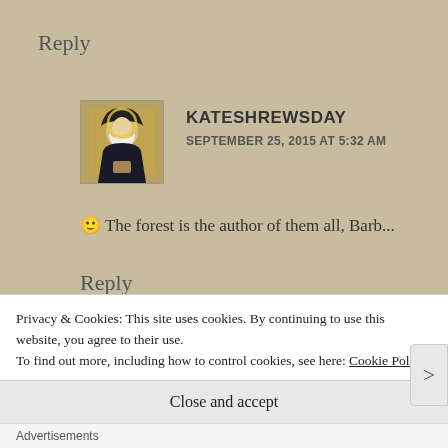Reply
KATESHREWSDAY
SEPTEMBER 25, 2015 AT 5:32 AM
[Figure (illustration): Small avatar image of a medieval-style figure of a nun or saint with dark robes and halo on a golden/brown background]
🙂 The forest is the author of them all, Barb...
Reply
Privacy & Cookies: This site uses cookies. By continuing to use this website, you agree to their use.
To find out more, including how to control cookies, see here: Cookie Policy
Close and accept
Advertisements